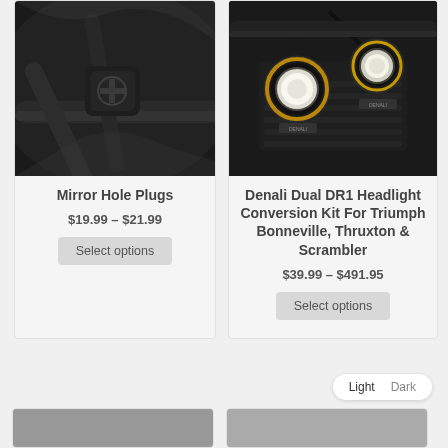[Figure (photo): Close-up photo of motorcycle mirror hole plugs on handlebars, dark metallic parts]
Mirror Hole Plugs
$19.99 – $21.99
Select options
[Figure (photo): Photo of Denali Dual DR1 headlights mounted on a Triumph motorcycle, round yellow-ringed lights visible]
Denali Dual DR1 Headlight Conversion Kit For Triumph Bonneville, Thruxton & Scrambler
$39.99 – $491.95
Select options